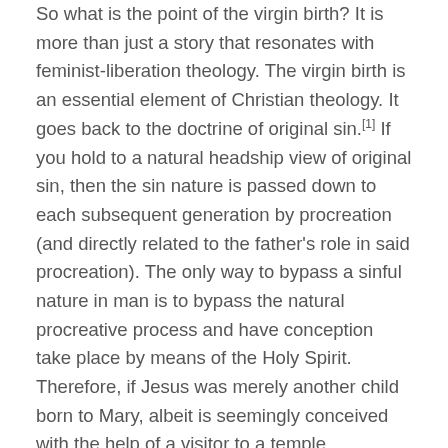So what is the point of the virgin birth? It is more than just a story that resonates with feminist-liberation theology. The virgin birth is an essential element of Christian theology. It goes back to the doctrine of original sin.[1] If you hold to a natural headship view of original sin, then the sin nature is passed down to each subsequent generation by procreation (and directly related to the father's role in said procreation). The only way to bypass a sinful nature in man is to bypass the natural procreative process and have conception take place by means of the Holy Spirit. Therefore, if Jesus was merely another child born to Mary, albeit is seemingly conceived with the help of a visitor to a temple prostitute, then Jesus was not free of a sin nature.[2] If Jesus was not free from